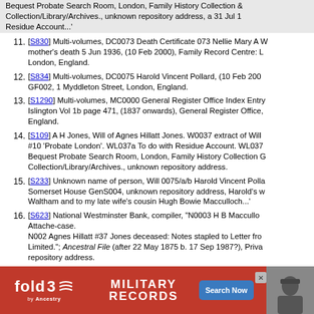(partial top) Bequest Probate Search Room, London, Family History Collection/Library/Archives., unknown repository address, a 31 Jul 1 Residue Account...'
11. [S830] Multi-volumes, DC0073 Death Certificate 073 Nellie Mary A W mother's death 5 Jun 1936, (10 Feb 2000), Family Record Centre: L London, England.
12. [S834] Multi-volumes, DC0075 Harold Vincent Pollard, (10 Feb 200 GF002, 1 Myddleton Street, London, England.
13. [S1290] Multi-volumes, MC0000 General Register Office Index Entry Islington Vol 1b page 471, (1837 onwards), General Register Office, England.
14. [S109] A H Jones, Will of Agnes Hillatt Jones. W0037 extract of Will #10 'Probate London'. WL037a To do with Residue Account. WL037 Bequest Probate Search Room, London, Family History Collection G Collection/Library/Archives., unknown repository address.
15. [S233] Unknown name of person, Will 0075/a/b Harold Vincent Polla Somerset House GenS004, unknown repository address, Harold's w Waltham and to my late wife's cousin Hugh Bowie Macculloch...'
16. [S623] National Westminster Bank, compiler, "N0003 H B Maccullo Attache-case. N002 Agnes Hillatt #37 Jones deceased: Notes stapled to Letter fro Limited."; Ancestral File (after 22 May 1875 b. 17 Sep 1987?), Priva repository address.
17. [S1025] Letter from MEH (unknown author address) to National We returned 18 Oct 1966; Family History Collection GF00: D & M Hall' repository address). Letter sent and returned undelivered.
18. [S...] ..., Journal Va... (L). Westm pa...
[Figure (other): fold3 Military Records advertisement banner with Search Now button]